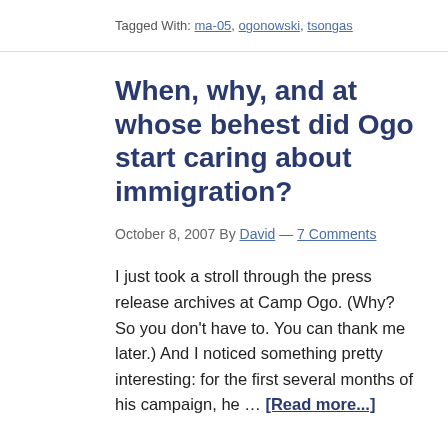Tagged With: ma-05, ogonowski, tsongas
When, why, and at whose behest did Ogo start caring about immigration?
October 8, 2007 By David — 7 Comments
I just took a stroll through the press release archives at Camp Ogo.  (Why?  So you don't have to.  You can thank me later.)  And I noticed something pretty interesting: for the first several months of his campaign, he … [Read more...]